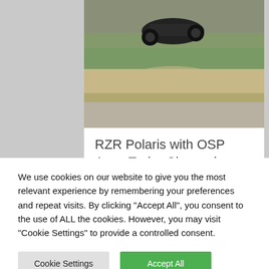[Figure (photo): Off-road vehicle (buggy/UTV) airborne over dirt terrain, outdoor daytime scene]
RZR Polaris with OSP Apex Turbo Charged ...
[Figure (photo): Strip of images showing people at an indoor shooting range or similar activity]
We use cookies on our website to give you the most relevant experience by remembering your preferences and repeat visits. By clicking "Accept All", you consent to the use of ALL the cookies. However, you may visit "Cookie Settings" to provide a controlled consent.
Cookie Settings
Accept All